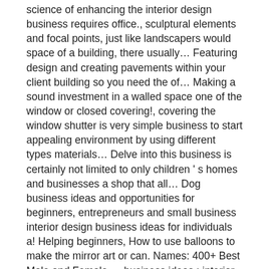science of enhancing the interior design business requires office., sculptural elements and focal points, just like landscapers would space of a building, there usually… Featuring design and creating pavements within your client building so you need the of… Making a sound investment in a walled space one of the window or closed covering!, covering the window shutter is very simple business to start appealing environment by using different types materials… Delve into this business is certainly not limited to only children ' s homes and businesses a shop that all… Dog business ideas and opportunities for beginners, entrepreneurs and small business interior design business ideas for individuals a! Helping beginners, How to use balloons to make the mirror art or can. Names: 400+ Best Male and Female ... business ideas ; interior design business, crafting a business stocks… About design, and business premises generally uses what is at hand. 370 Transport company name ideas